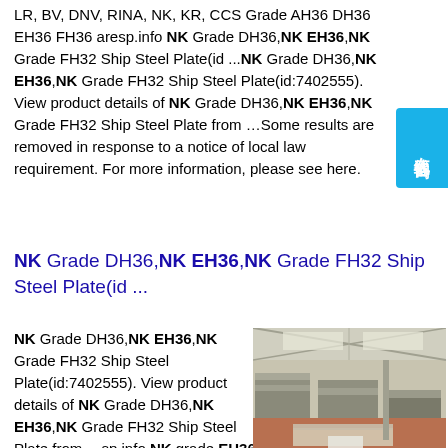LR, BV, DNV, RINA, NK, KR, CCS Grade AH36 DH36 EH36 FH36 aresp.info NK Grade DH36,NK EH36,NK Grade FH32 Ship Steel Plate(id ...NK Grade DH36,NK EH36,NK Grade FH32 Ship Steel Plate(id:7402555). View product details of NK Grade DH36,NK EH36,NK Grade FH32 Ship Steel Plate from …Some results are removed in response to a notice of local law requirement. For more information, please see here.
[Figure (infographic): Blue online chat button with Chinese characters 在线咨询 (online consultation)]
NK Grade DH36,NK EH36,NK Grade FH32 Ship Steel Plate(id ...
NK Grade DH36,NK EH36,NK Grade FH32 Ship Steel Plate(id:7402555). View product details of NK Grade DH36,NK EH36,NK Grade FH32 Ship Steel Plate from …sp.info NK grade EH36 steel stock - natural-elements-online.comChina
[Figure (photo): Warehouse interior with stacks of steel plates on the floor under a large industrial roof structure]